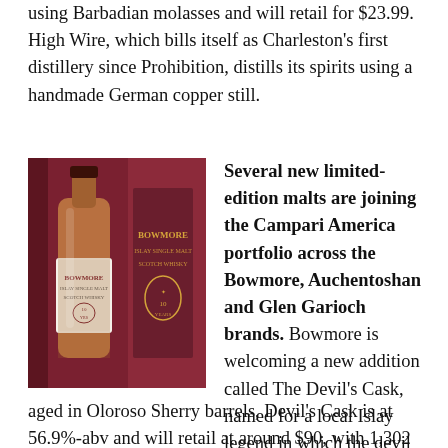using Barbadian molasses and will retail for $23.99. High Wire, which bills itself as Charleston's first distillery since Prohibition, distills its spirits using a handmade German copper still.
[Figure (photo): Bowmore whisky bottle and box, dark red/maroon colored packaging with a gold emblem, showing a 10-year-old Bowmore Scotch whisky]
Several new limited-edition malts are joining the Campari America portfolio across the Bowmore, Auchentoshan and Glen Garioch brands. Bowmore is welcoming a new addition called The Devil's Cask, named for a local Islay legend in which the devil stows away in a barrel of Bowmore bound for the mainland. A 10-year-old Scotch aged in Oloroso Sherry barrels, Devil's Cask is at 56.9%-abv and will retail at around $90, with 1,302 bottles coming to the U.S. starting next month. Atop the pricing ladder, Bowmore is introducing a 50-year-old, retail-priced at around $20,000 a 750-ml. It's replacing a 40-year-old that was priced at $15,000. Devil's Cask and the 50-year-old join Bowmore's recently added Dorus Mor (55.1%-abv), a 10-year-old priced at $120, of which 2,400